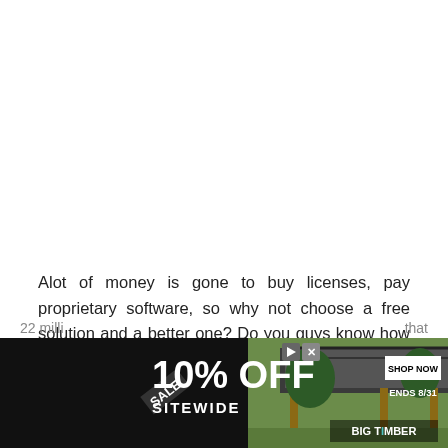Alot of money is gone to buy licenses, pay proprietary software, so why not choose a free solution and a better one? Do you guys know how much would it cost to Turin if they had to upgrade their Windows operating systems from one version to another?
22 milli ... that
[Figure (other): Advertisement banner: black background with '10% OFF SITEWIDE' sale text in white, 'SHOP NOW ENDS 8/31' button, and image of a wooden gazebo structure on the right. BIG TIMBER branding visible.]